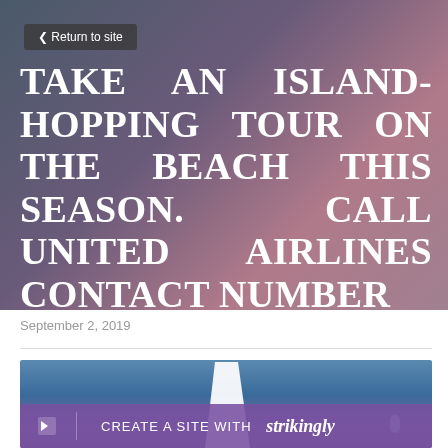< Return to site
TAKE AN ISLAND-HOPPING TOUR ON THE BEACH THIS SEASON. CALL UNITED AIRLINES CONTACT NUMBER
September 2, 2019
[Figure (photo): Airplane wing visible against a blue sky with purple-hued Strikingly branding bar at the bottom reading CREATE A SITE WITH strikingly]